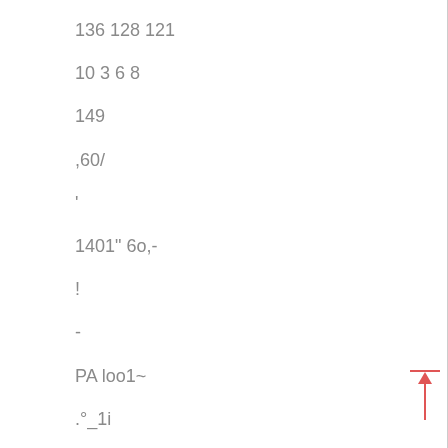136 128 121
10 3 6 8
149
,60/
'
1401" 6o,-
!
-
PA loo1~
.°_1i
~(~